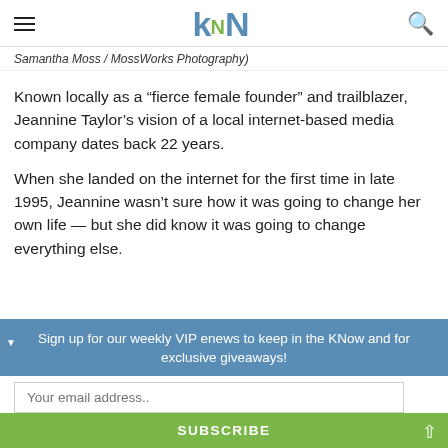kN (logo)
Samantha Moss / MossWorks Photography)
Known locally as a “fierce female founder” and trailblazer, Jeannine Taylor’s vision of a local internet-based media company dates back 22 years.
When she landed on the internet for the first time in late 1995, Jeannine wasn’t sure how it was going to change her own life — but she did know it was going to change everything else.
Sign up for our weekly VIP enews to keep in the KNow and for exclusive giveaways!